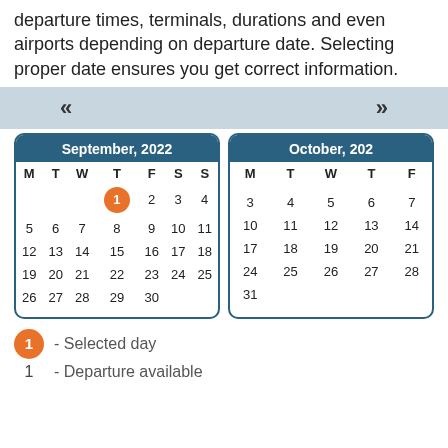departure times, terminals, durations and even airports depending on departure date. Selecting proper date ensures you get correct information.
[Figure (other): Calendar navigation bar with left (<<) and right (>>) arrows on a light blue-grey background]
[Figure (other): Two-month calendar view showing September 2022 and October 2022. September 1 is highlighted as selected day (orange circle). Days of week shown as M T W T F S S.]
1 - Selected day
1 - Departure available